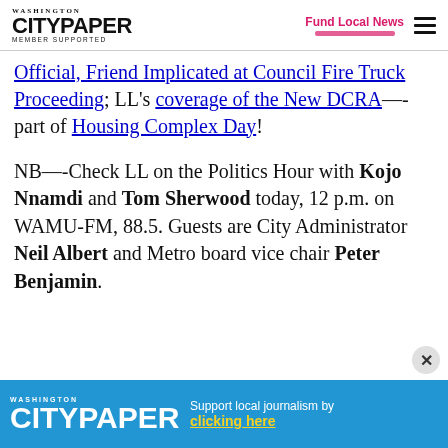Washington City Paper — MEMBER SUPPORTED | Fund Local News
Official, Friend Implicated at Council Fire Truck Proceeding; LL's coverage of the New DCRA—-part of Housing Complex Day!
NB—-Check LL on the Politics Hour with Kojo Nnamdi and Tom Sherwood today, 12 p.m. on WAMU-FM, 88.5. Guests are City Administrator Neil Albert and Metro board vice chair Peter Benjamin.
[Figure (logo): Washington City Paper advertisement banner — Support local journalism by clicking here]